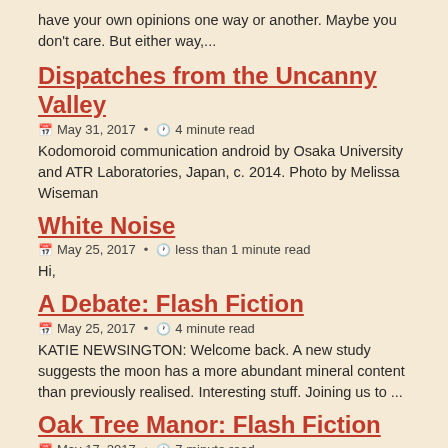have your own opinions one way or another. Maybe you don't care. But either way,...
Dispatches from the Uncanny Valley
📅 May 31, 2017  •  🕐 4 minute read
Kodomoroid communication android by Osaka University and ATR Laboratories, Japan, c. 2014. Photo by Melissa Wiseman
White Noise
📅 May 25, 2017  •  🕐 less than 1 minute read
Hi,
A Debate: Flash Fiction
📅 May 25, 2017  •  🕐 4 minute read
KATIE NEWSINGTON: Welcome back. A new study suggests the moon has a more abundant mineral content than previously realised. Interesting stuff. Joining us to ...
Oak Tree Manor: Flash Fiction
📅 May 17, 2017  •  🕐 7 minute read
Another story from a prompt at Terrible Minds. This week was a mash-up of genres. I got 'Haunted House' and 'Body Horror'. Enjoy!